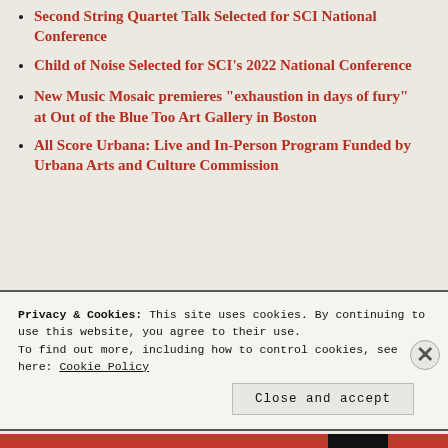Second String Quartet Talk Selected for SCI National Conference
Child of Noise Selected for SCI's 2022 National Conference
New Music Mosaic premieres “exhaustion in days of fury” at Out of the Blue Too Art Gallery in Boston
All Score Urbana: Live and In-Person Program Funded by Urbana Arts and Culture Commission
Privacy & Cookies: This site uses cookies. By continuing to use this website, you agree to their use.
To find out more, including how to control cookies, see here: Cookie Policy
Close and accept